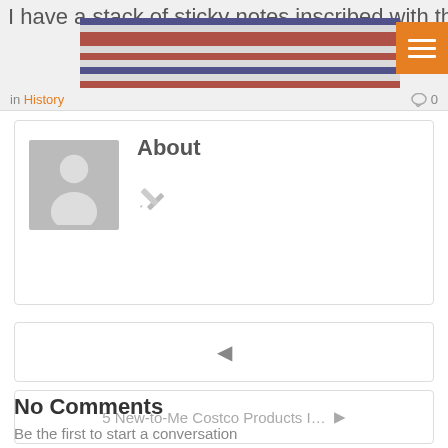I have a stack of sticky notes inscribed with the mantra
in History  0
About
[Figure (illustration): Pencil/edit icon in gray]
◄
5 New-to-Me Costco Products I… ▶
No Comments
Be the first to start a conversation